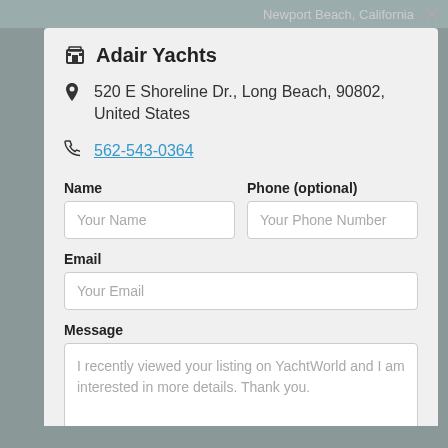Adair Yachts
520 E Shoreline Dr., Long Beach, 90802, United States
562-543-0364
Name
Your Name
Phone (optional)
Your Phone Number
Email
Your Email
Message
I recently viewed your listing on YachtWorld and I am interested in more details. Thank you.
Contact Broker